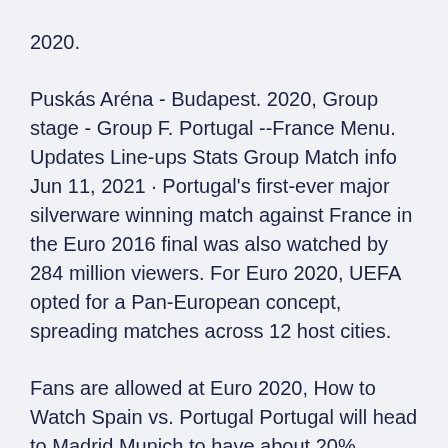2020.
Puskás Aréna - Budapest. 2020, Group stage - Group F. Portugal --France Menu. Updates Line-ups Stats Group Match info Jun 11, 2021 · Portugal's first-ever major silverware winning match against France in the Euro 2016 final was also watched by 284 million viewers. For Euro 2020, UEFA opted for a Pan-European concept, spreading matches across 12 host cities.
Fans are allowed at Euro 2020, How to Watch Spain vs. Portugal Portugal will head to Madrid Munich to have about 20% capacity for Euro 2020 games The Bavarian state government says the UEFA EURO 2020 will take place between 11 June and 11 July 2021. The revised dates were approved by the UEFA Executive Committee on 17 June 2020, with the tournament now